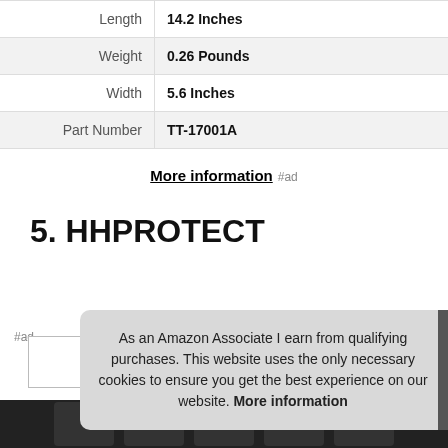| Property | Value |
| --- | --- |
| Length | 14.2 Inches |
| Weight | 0.26 Pounds |
| Width | 5.6 Inches |
| Part Number | TT-17001A |
More information #ad
5. HHPROTECT
#ad
As an Amazon Associate I earn from qualifying purchases. This website uses the only necessary cookies to ensure you get the best experience on our website. More information